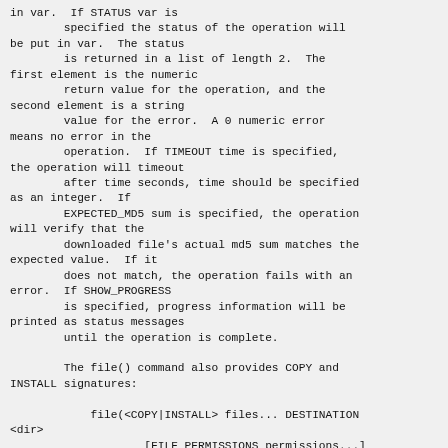in var.  If STATUS var is
        specified the status of the operation will be put in var.  The status
        is returned in a list of length 2.  The first element is the numeric
        return value for the operation, and the second element is a string
        value for the error.  A 0 numeric error means no error in the
        operation.  If TIMEOUT time is specified, the operation will timeout
        after time seconds, time should be specified as an integer.  If
        EXPECTED_MD5 sum is specified, the operation will verify that the
        downloaded file's actual md5 sum matches the expected value.  If it
        does not match, the operation fails with an error.  If SHOW_PROGRESS
        is specified, progress information will be printed as status messages
        until the operation is complete.

        The file() command also provides COPY and INSTALL signatures:

            file(<COPY|INSTALL> files... DESTINATION <dir>
                    [FILE_PERMISSIONS permissions...]
                    [DIRECTORY_PERMISSIONS permissions...]
                    [NO_SOURCE_PERMISSIONS]
[USE_SOURCE_PERMISSIONS]